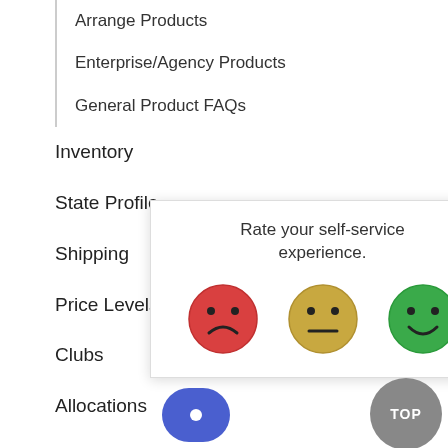Arrange Products
Enterprise/Agency Products
General Product FAQs
Inventory
State Profile
Shipping
Price Levels
Clubs
Allocations
Gift Cards
Promo
Searches
[Figure (screenshot): Rate your self-service experience modal with three emoji faces: sad (red), neutral (yellow), happy (green), and an X close button]